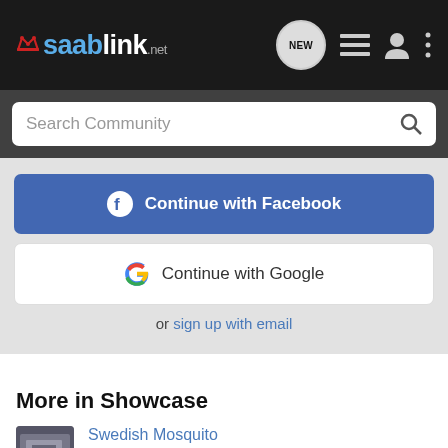saablink.net — navigation bar with NEW chat bubble, list icon, user icon, menu icon
Search Community
[Figure (screenshot): Continue with Facebook button (blue), Continue with Google button (white with Google G logo), or sign up with email link]
More in Showcase
Swedish Mosquito — 1997 Saab 900s (gray and black)
goldrush's 2003 Saab 9-5 Wagon — 2003 Saab 9-5 Wagon